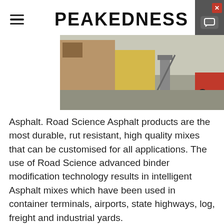PEAKEDNESS
[Figure (photo): Aerial/elevated view of an industrial asphalt plant facility showing trucks, equipment, conveyors, and industrial buildings]
Asphalt. Road Science Asphalt products are the most durable, rut resistant, high quality mixes that can be customised for all applications. The use of Road Science advanced binder modification technology results in intelligent Asphalt mixes which have been used in container terminals, airports, state highways, log, freight and industrial yards.
Learn More
Asphalt Se...
Asphalt Products